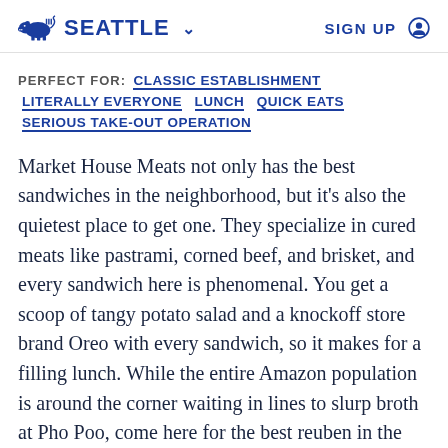SEATTLE  SIGN UP
PERFECT FOR:  CLASSIC ESTABLISHMENT  LITERALLY EVERYONE  LUNCH  QUICK EATS  SERIOUS TAKE-OUT OPERATION
Market House Meats not only has the best sandwiches in the neighborhood, but it's also the quietest place to get one. They specialize in cured meats like pastrami, corned beef, and brisket, and every sandwich here is phenomenal. You get a scoop of tangy potato salad and a knockoff store brand Oreo with every sandwich, so it makes for a filling lunch. While the entire Amazon population is around the corner waiting in lines to slurp broth at Pho Poo, come here for the best reuben in the city.